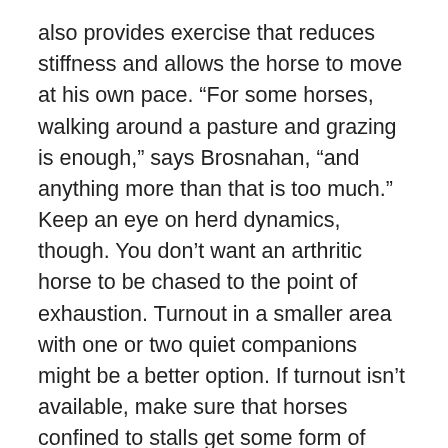also provides exercise that reduces stiffness and allows the horse to move at his own pace. “For some horses, walking around a pasture and grazing is enough,” says Brosnahan, “and anything more than that is too much.” Keep an eye on herd dynamics, though. You don’t want an arthritic horse to be chased to the point of exhaustion. Turnout in a smaller area with one or two quiet companions might be a better option. If turnout isn’t available, make sure that horses confined to stalls get some form of daily exercise. If you can’t ride or turn out the horse, take him for walks, as you would a dog.
Choose appropriate footing. Whether for riding